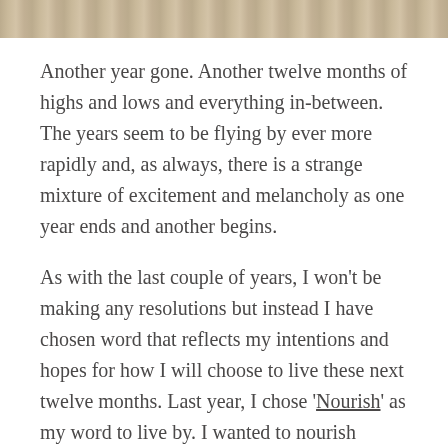[Figure (photo): A partial cropped image visible at the top of the page, appearing to show a warm-toned photographic scene.]
Another year gone. Another twelve months of highs and lows and everything in-between. The years seem to be flying by ever more rapidly and, as always, there is a strange mixture of excitement and melancholy as one year ends and another begins.
As with the last couple of years, I won't be making any resolutions but instead I have chosen word that reflects my intentions and hopes for how I will choose to live these next twelve months. Last year, I chose 'Nourish' as my word to live by. I wanted to nourish myself and my relationships with others and, whilst I can't reasonably claim that I was driven by this unswervingly all year, it was definitely something I came back to repeatedly and it helped me to refocus when life became overwhelming.